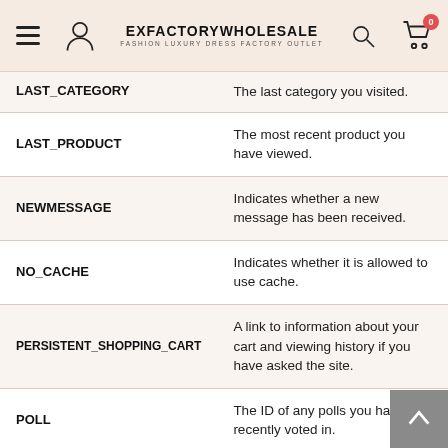EXFACTORYWHOLESALE — FASHION LUXURY DRESS FACTORY OUTLET
| Cookie Name | Description |
| --- | --- |
| LAST_CATEGORY | The last category you visited. |
| LAST_PRODUCT | The most recent product you have viewed. |
| NEWMESSAGE | Indicates whether a new message has been received. |
| NO_CACHE | Indicates whether it is allowed to use cache. |
| PERSISTENT_SHOPPING_CART | A link to information about your cart and viewing history if you have asked the site. |
| POLL | The ID of any polls you have recently voted in. |
| POLLN | Information on what polls you have voted on. |
| RECENTLYCOMPARED | The items that you have recently compared. |